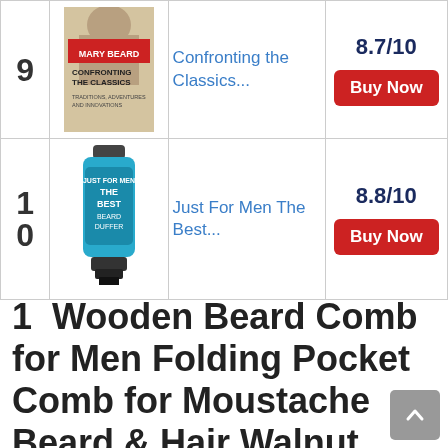| Rank | Image | Title | Score/Action |
| --- | --- | --- | --- |
| 9 | [book image] | Confronting the Classics... | 8.7/10 | Buy Now |
| 10 | [product image] | Just For Men The Best... | 8.8/10 | Buy Now |
1  Wooden Beard Comb for Men Folding Pocket Comb for Moustache Beard & Hair Walnut Combs with the Engraving (Shell)